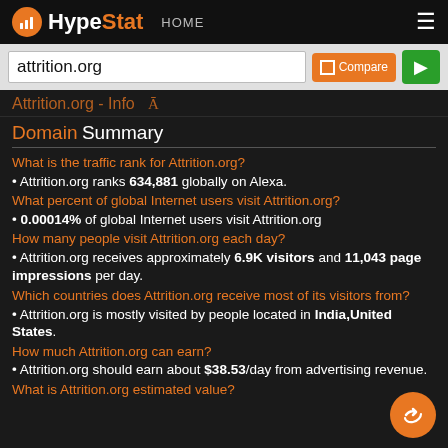HypeStat — HOME navigation bar with logo
attrition.org — search input with Compare and Go buttons
Attrition.org - Info
Domain Summary
What is the traffic rank for Attrition.org?
• Attrition.org ranks 634,881 globally on Alexa.
What percent of global Internet users visit Attrition.org?
• 0.00014% of global Internet users visit Attrition.org
How many people visit Attrition.org each day?
• Attrition.org receives approximately 6.9K visitors and 11,043 page impressions per day.
Which countries does Attrition.org receive most of its visitors from?
• Attrition.org is mostly visited by people located in India,United States.
How much Attrition.org can earn?
• Attrition.org should earn about $38.53/day from advertising revenue.
What is Attrition.org estimated value?